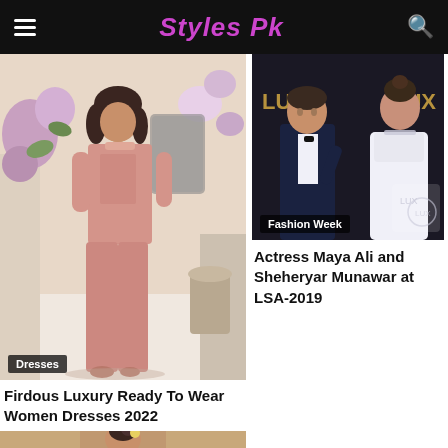Styles Pk
[Figure (photo): Woman in pink Pakistani traditional dress (shalwar kameez) posing in floral decorated setting]
Dresses
Firdous Luxury Ready To Wear Women Dresses 2022
[Figure (photo): Actress Maya Ali and Sheheryar Munawar at LUX Style Awards 2019 event]
Fashion Week
Actress Maya Ali and Sheheryar Munawar at LSA-2019
[Figure (photo): Model in beige/tan outfit, partial view, bottom of page]